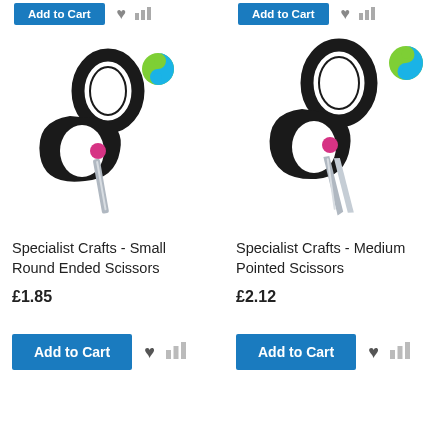[Figure (screenshot): Top partial row showing two 'Add to Cart' buttons with heart and bar chart icons, partially cropped at top of page]
[Figure (photo): Specialist Crafts Small Round Ended Scissors — black handles with pink accent dot, silver blades, on white background with yin-yang logo badge]
[Figure (photo): Specialist Crafts Medium Pointed Scissors — black handles with pink accent dot, silver blades, on white background with yin-yang logo badge]
Specialist Crafts - Small Round Ended Scissors
Specialist Crafts - Medium Pointed Scissors
£1.85
£2.12
Add to Cart
Add to Cart